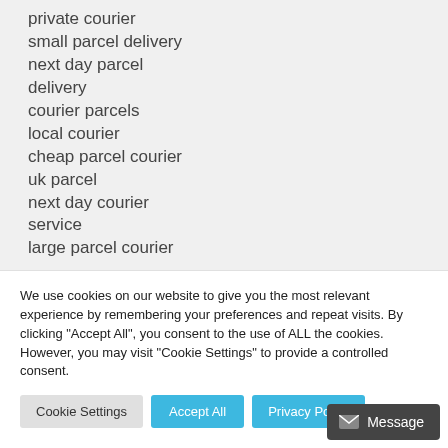private courier
small parcel delivery
next day parcel delivery
courier parcels
local courier
cheap parcel courier
uk parcel
next day courier service
large parcel courier
We use cookies on our website to give you the most relevant experience by remembering your preferences and repeat visits. By clicking "Accept All", you consent to the use of ALL the cookies. However, you may visit "Cookie Settings" to provide a controlled consent.
Cookie Settings | Accept All | Privacy Policy
Message